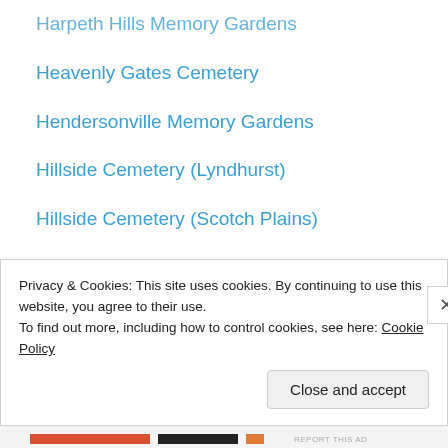Harpeth Hills Memory Gardens
Heavenly Gates Cemetery
Hendersonville Memory Gardens
Hillside Cemetery (Lyndhurst)
Hillside Cemetery (Scotch Plains)
Hillside Memorial Park
Hollywood Forever Cemetery
Holy Cross Cemetery
Holy Cross Cemetery (CA)
Holy Cross Cemetery (MA)
Holy Trinity Church (UK)
Inglewood Park Cemetery
Jacksonville Memory Gardens
Jefferson Barracks National Cemetery
Privacy & Cookies: This site uses cookies. By continuing to use this website, you agree to their use.
To find out more, including how to control cookies, see here: Cookie Policy
Close and accept